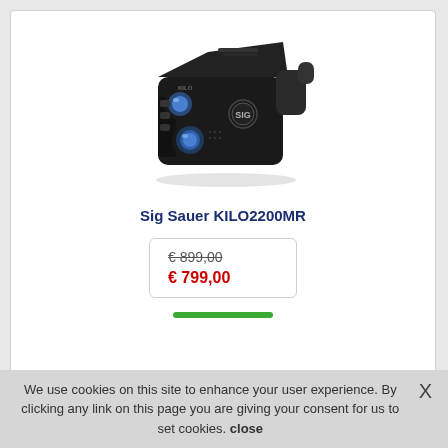[Figure (photo): Sig Sauer KILO2200MR laser rangefinder, black, compact monocular device with blue lens]
Sig Sauer KILO2200MR
€ 899,00 (strikethrough) 
€ 799,00 (sale price in red)
We use cookies on this site to enhance your user experience. By clicking any link on this page you are giving your consent for us to set cookies. close